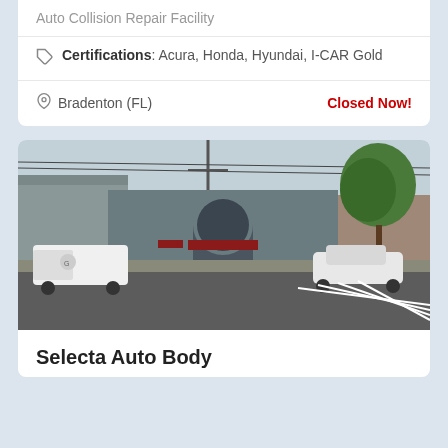Auto Collision Repair Facility
Certifications: Acura, Honda, Hyundai, I-CAR Gold
Bradenton (FL)
Closed Now!
[Figure (photo): Street view photo of Selecta Auto Body shop exterior — a gray building with arched entrance, a white van parked on the left, a white sedan on the right, and a green tree on the far right.]
Selecta Auto Body